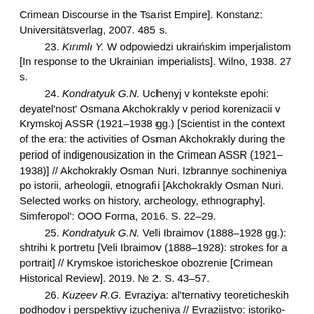Crimean Discourse in the Tsarist Empire]. Konstanz: Universitätsverlag, 2007. 485 s.
23. Kırımlı Y. W odpowiedzi ukraińskim imperjalistom [In response to the Ukrainian imperialists]. Wilno, 1938. 27 s.
24. Kondratyuk G.N. Uchenyj v kontekste epohi: deyatel'nost' Osmana Akchokrakly v period korenizacii v Krymskoj ASSR (1921–1938 gg.) [Scientist in the context of the era: the activities of Osman Akchokrakly during the period of indigenousization in the Crimean ASSR (1921–1938)] // Akchokrakly Osman Nuri. Izbrannye sochineniya po istorii, arheologii, etnografii [Akchokrakly Osman Nuri. Selected works on history, archeology, ethnography]. Simferopol': OOO Forma, 2016. S. 22–29.
25. Kondratyuk G.N. Veli Ibraimov (1888–1928 gg.): shtrihi k portretu [Veli Ibraimov (1888–1928): strokes for a portrait] // Krymskoe istoricheskoe obozrenie [Crimean Historical Review]. 2019. № 2. S. 43–57.
26. Kuzeev R.G. Evraziya: al'ternativy teoreticheskih podhodov i perspektivy izucheniya // Evrazijstvo: istoriko-kul'turnoe nasledie i perspektivy razvitiya. Tezisy dokladov mezhdunarodnoj nauchnoj konferencii (14–15 sentyabrya 2000 g.) [Eurasia: Alternatives to Theoretical Approaches and Prospects for Study // Eurasianism: Historical and Cultural Heritage and Development Prospects. Abstracts of the international scientific conference (September 14-